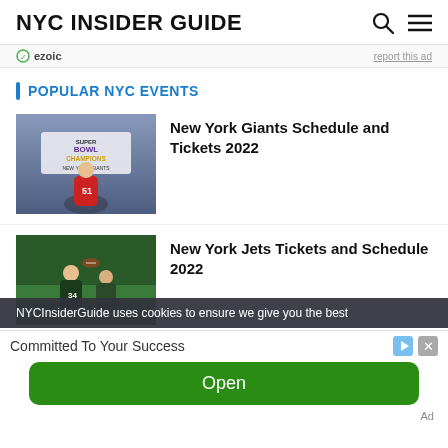NYC INSIDER GUIDE
ezoic  report this ad
POPULAR NYC EVENTS
[Figure (photo): NY Giants Super Bowl Champions banner photo]
New York Giants Schedule and Tickets 2022
[Figure (photo): NY Jets football player #34 photo]
New York Jets Tickets and Schedule 2022
NYCInsiderGuide uses cookies to ensure we give you the best
Committed To Your Success
Open
Ad